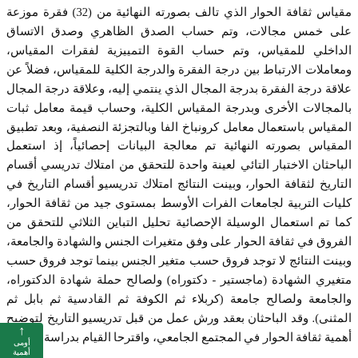مقياس ثقافة الحوار الذي تالف بصورته النهائية من (32) فقرة موزعة على خمس مجالات، وتم حساب الصدق الظاهري وصدق الاتساق الداخلي للمقياس، وتم حساب القوة التمييزية لفقرات المقياس، ومعاملات الارتباط بين درجة الفقرة والدرجة الكلية للمقياس، فضلاً عن علاقة درجة الفقرة بدرجة المجال الذي ينتمي إليه، وعلاقة درجة المجال بالمجالات الأخرى وبدرجة المقياس الكلية، وحساب قيمة معامل ثبات المقياس باستعمال معامل كرونباخ الفا وبالتجزئة النصفية، وبعد تطبيق المقياس بصورته النهائية تم معالجة البيانات إحصائياً، إذ استعمل الباحثان الاختبار التائي لعينة واحدة للتحقق من امتلاك تدريسي أقسام التاريخ لثقافة الحوار، وبينت النتائج امتلاك تدريسيو أقسام التاريخ في كليات التربية لجامعات الفرات الأوسط بمستوى جيد من ثقافة الحوار، كما تم استعمال الوسيلة الإحصائية تحليل التباين الثلاثي للتحقق من الفروق في ثقافة الحوار على وفق متغيرات الجنس والشهادة والجامعة، وبينت النتائج لا توجد فروق حسب متغير الجنس بينما توجد فروق حسب متغيري الشهادة (ماجستير - دكتوراه) ولصالح حملة شهادة الدكتوراه، والجامعة ولصالح جامعة (كربلاء ثم الكوفة ثم القادسية ثم بابل ثم المثنى). وقد الباحثان بعقد ورش عمل من قبل تدريسيو التاريخ لتوضيح أهمية ثقافة الحوار في المجتمع الجامعي، واقترحا القيام بدراسة